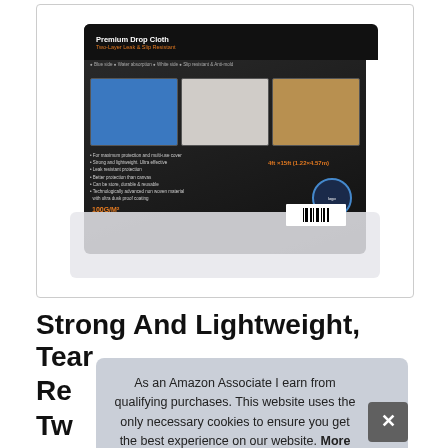[Figure (photo): Product photo of a Premium Drop Cloth package with dark packaging showing 'Two-Layer Leak & Slip Resistant' label and product images on front]
Strong And Lightweight, Tear Re Tw 1.2 Drop Cloth, dust Sheet, Water
As an Amazon Associate I earn from qualifying purchases. This website uses the only necessary cookies to ensure you get the best experience on our website. More information